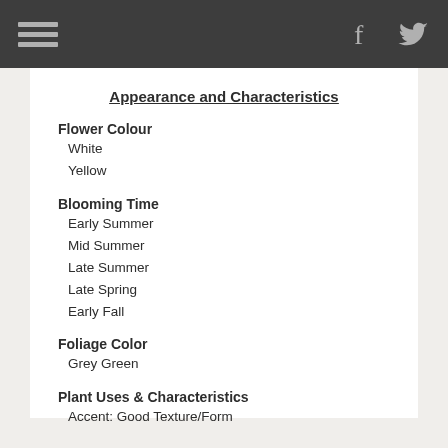Appearance and Characteristics
Flower Colour
White
Yellow
Blooming Time
Early Summer
Mid Summer
Late Summer
Late Spring
Early Fall
Foliage Color
Grey Green
Plant Uses & Characteristics
Accent: Good Texture/Form